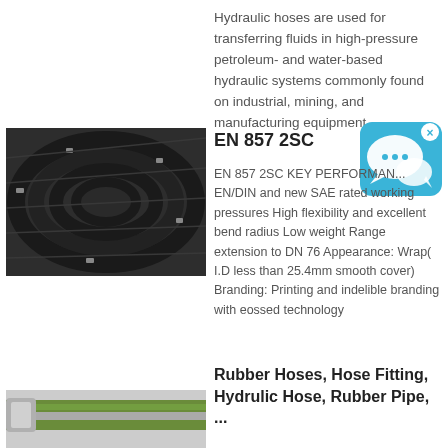Hydraulic hoses are used for transferring fluids in high-pressure petroleum- and water-based hydraulic systems commonly found on industrial, mining, and manufacturing equipment.
[Figure (photo): Coiled black hydraulic hoses stacked on top of each other, shot from front angle.]
EN 857 2SC
[Figure (illustration): Blue chat bubble / messenger app icon with an X close button in top right corner.]
EN 857 2SC KEY PERFORMANCE EN/DIN and new SAE rated working pressures High flexibility and excellent bend radius Low weight Range extension to DN 76 Appearance: Wrap( I.D less than 25.4mm smooth cover) Branding: Printing and indelible branding with eossed technology
Rubber Hoses, Hose Fitting, Hydrulic Hose, Rubber Pipe, ...
[Figure (photo): Partial view of a green and gray rubber hose at the bottom of the page.]